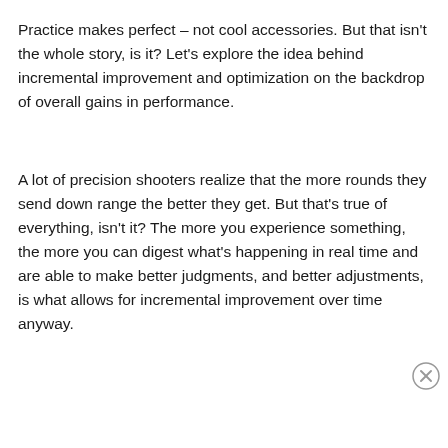Practice makes perfect – not cool accessories. But that isn't the whole story, is it? Let's explore the idea behind incremental improvement and optimization on the backdrop of overall gains in performance.
A lot of precision shooters realize that the more rounds they send down range the better they get. But that's true of everything, isn't it? The more you experience something, the more you can digest what's happening in real time and are able to make better judgments, and better adjustments, is what allows for incremental improvement over time anyway.
[Figure (other): Advertisements banner area with a blue gradient bar and a close button (X circle)]
[Figure (other): Seamless food delivery advertisement banner with pizza image, seamless red logo, and ORDER NOW button on dark background]